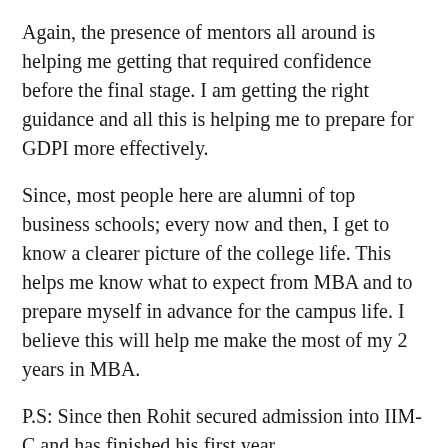Again, the presence of mentors all around is helping me getting that required confidence before the final stage. I am getting the right guidance and all this is helping me to prepare for GDPI more effectively.
Since, most people here are alumni of top business schools; every now and then, I get to know a clearer picture of the college life. This helps me know what to expect from MBA and to prepare myself in advance for the campus life. I believe this will help me make the most of my 2 years in MBA.
P.S: Since then Rohit secured admission into IIM-C and has finished his first year.
Advertisements
[Figure (logo): Sensei advertisement banner — dark background with a circular tree/person icon and the word 'sensei' in white lowercase text]